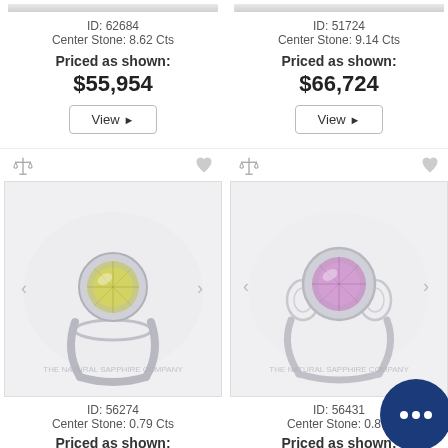ID: 62684
Center Stone: 8.62 Cts
Priced as shown:
$55,954
ID: 51724
Center Stone: 9.14 Cts
Priced as shown:
$66,724
[Figure (photo): Silver ring with yellow-green gemstone cluster, white background, The Natural Sapphire Company watermark. ID: 56274, Center Stone: 0.79 Cts]
[Figure (photo): Silver filigree ring with pink/purple round gemstone, white background, The Natural Sapphire Company watermark. ID: 56431, center stone partially visible.]
ID: 56274
Center Stone: 0.79 Cts
Priced as shown:
ID: 56431
Center Stone: 0.8...
Priced as shown: